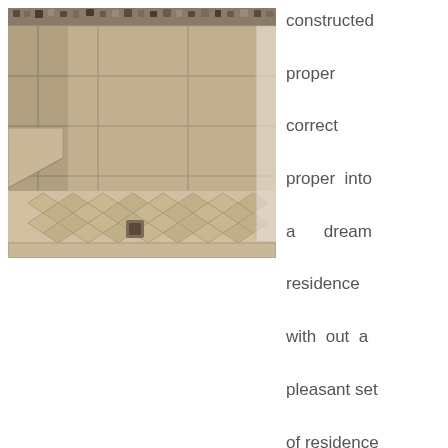[Figure (photo): Tiled walk-in shower with beige/tan tiles, decorative mosaic border strip at top, diamond-pattern tile floor with center drain, and a corner bench shelf on the left wall.]
constructed proper correct proper into a dream residence with out a pleasant set of residence plans to assemble it from. Lighting: The most effective lighting in a rest room should be a wall mounted light beside the mirror so that we can see our faces when applying make-up or shaving. Visualize your toilet design ideas and turn them right into a
satellite. The most common requirement of the